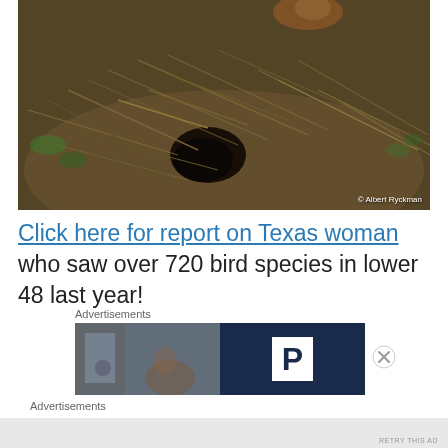[Figure (photo): A groundhog or prairie dog near its burrow entrance, surrounded by dry grass and twigs. A small animal is visible at the top of the mound. Photo credit: Albert Ryckman.]
Click here for report on Texas woman who saw over 720 bird species in lower 48 last year!
Advertisements
[Figure (photo): Advertisement banner: left half shows a blurry indoor photo, right half shows a dark navy background with a white letter P logo.]
Advertisements